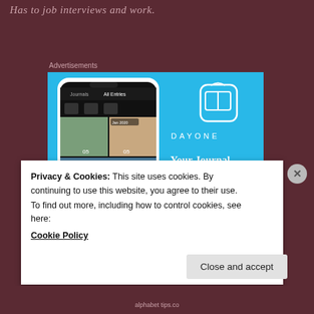Has to job interviews and work.
Advertisements
[Figure (screenshot): DayOne app advertisement showing a smartphone with the DayOne journal app interface, with photos of daily entries. The right side shows the DayOne book icon logo, the text 'DAYONE' and tagline 'Your Journal for life' on a light blue background.]
Privacy & Cookies: This site uses cookies. By continuing to use this website, you agree to their use.
To find out more, including how to control cookies, see here:
Cookie Policy
Close and accept